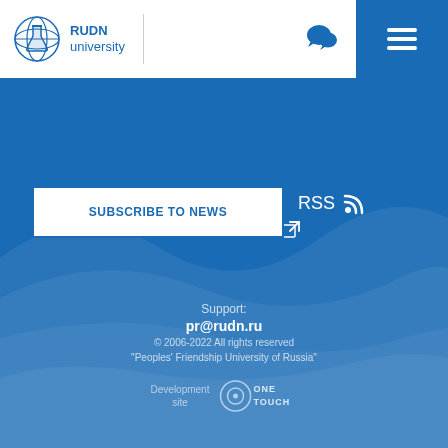RUDN university
SUBSCRIBE TO NEWS
RSS
minobrnauki.gov.ru
Support: pr@rudn.ru
© 2006-2022 All rights reserved "Peoples' Friendship University of Russia"
Development site ONE TOUCH